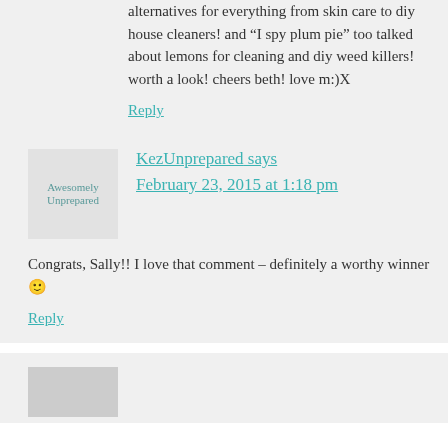alternatives for everything from skin care to diy house cleaners! and “I spy plum pie” too talked about lemons for cleaning and diy weed killers! worth a look! cheers beth! love m:)X
Reply
KezUnprepared says
February 23, 2015 at 1:18 pm
Congrats, Sally!! I love that comment – definitely a worthy winner 😊
Reply